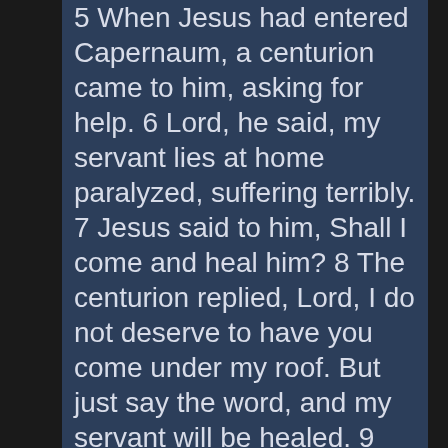5 When Jesus had entered Capernaum, a centurion came to him, asking for help. 6 Lord, he said, my servant lies at home paralyzed, suffering terribly. 7 Jesus said to him, Shall I come and heal him? 8 The centurion replied, Lord, I do not deserve to have you come under my roof. But just say the word, and my servant will be healed. 9 For I myself am a man under authority, with soldiers under me. I tell this one, 'Go,' and he goes; and that one, 'Come,' and he comes. I say to my servant, 'Do this,' and he does it. 10 When Jesus heard this, he was amazed and said to those following him, Truly I tell you, I have not found anyone in Israel with such great faith. 11 I say to you that many will come from the east and the west, and will take their places at the feast with